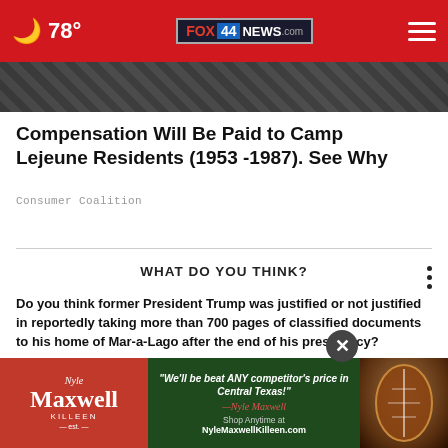78° FOX 44 NEWS.com
[Figure (photo): Partial hero image, dark toned photograph partially visible]
Compensation Will Be Paid to Camp Lejeune Residents (1953 -1987). See Why
Consumer Coalition
WHAT DO YOU THINK?
Do you think former President Trump was justified or not justified in reportedly taking more than 700 pages of classified documents to his home of Mar-a-Lago after the end of his presidency?
Totally justified
Somewhat justified
N
Other / No opinion
[Figure (photo): Maxwell Killeen advertisement banner with football and text: We'll be beat ANY competitor's price in Central Texas! Shop Anytime at NyleMaxwellKilleen.com]